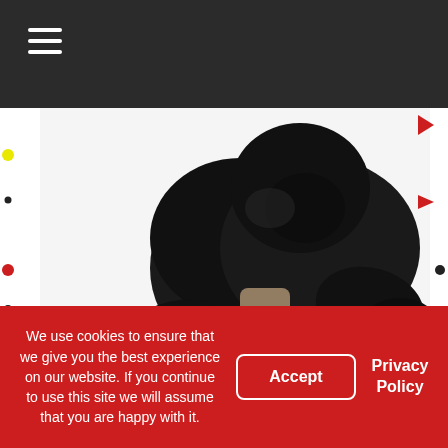☰
[Figure (photo): A gorilla holding a small person in cowboy boots, comedy movie promotional image on white background]
You'd think a comedy movie with both John Travolta and the late Robin Williams would be classic right? In this movie, Travolta and Williams's characters...
We use cookies to ensure that we give you the best experience on our website. If you continue to use this site we will assume that you are happy with it.
Accept
Privacy Policy